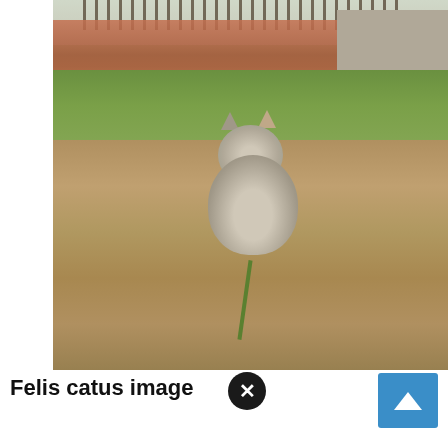[Figure (photo): A tabby and white cat sitting on bare dirt ground in a garden or yard. Green grass is visible in the background, along with a brick wall, metal fence, and a structure on the right. The cat faces the camera. A green plant stem is visible in the foreground bottom center.]
Felis catus image